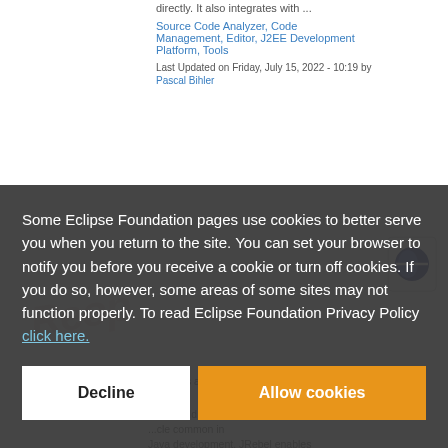directly. It also integrates with ...
Source Code Analyzer, Code Management, Editor, J2EE Development Platform, Tools
Last Updated on Friday, July 15, 2022 - 10:19 by Pascal Bihler
Some Eclipse Foundation pages use cookies to better serve you when you return to the site. You can set your browser to notify you before you receive a cookie or turn off cookies. If you do so, however, some areas of some sites may not function properly. To read Eclipse Foundation Privacy Policy click here.
Decline
Allow cookies